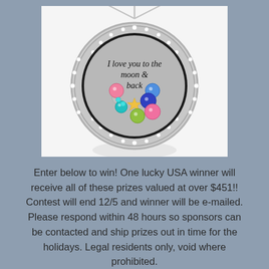[Figure (photo): A silver locket necklace with rhinestone border, open to show colorful crystal charms and the text 'I love you to the moon & back' engraved inside, displayed on a white background with a reflection below.]
Enter below to win! One lucky USA winner will receive all of these prizes valued at over $451!! Contest will end 12/5 and winner will be e-mailed. Please respond within 48 hours so sponsors can be contacted and ship prizes out in time for the holidays. Legal residents only, void where prohibited.